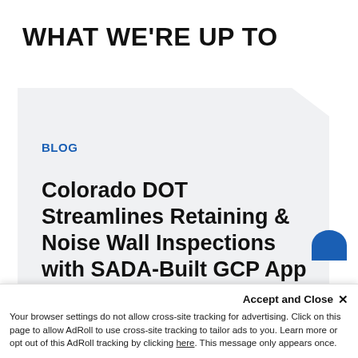WHAT WE'RE UP TO
BLOG
Colorado DOT Streamlines Retaining & Noise Wall Inspections with SADA-Built GCP App
Accept and Close ×
Your browser settings do not allow cross-site tracking for advertising. Click on this page to allow AdRoll to use cross-site tracking to tailor ads to you. Learn more or opt out of this AdRoll tracking by clicking here. This message only appears once.